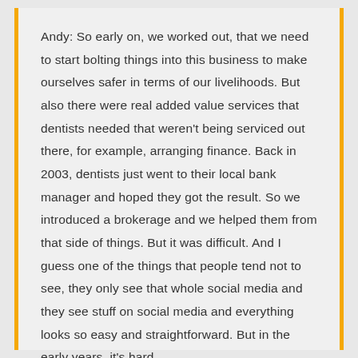Andy: So early on, we worked out, that we need to start bolting things into this business to make ourselves safer in terms of our livelihoods. But also there were real added value services that dentists needed that weren't being serviced out there, for example, arranging finance. Back in 2003, dentists just went to their local bank manager and hoped they got the result. So we introduced a brokerage and we helped them from that side of things. But it was difficult. And I guess one of the things that people tend not to see, they only see that whole social media and they see stuff on social media and everything looks so easy and straightforward. But in the early years, it's hard.